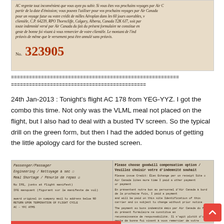[Figure (photo): Scanned Air Canada apology form in French showing text about Aeroplan miles compensation and a document number 323905 in large orange/red font]
========================================================
=============================================
24th Jan-2013 : Tonight's flight AC 178 from YEG-YYZ. I got the combo this time. Not only was the VLML meal not placed on the flight, but I also had to deal with a busted TV screen. So the typical drill on the green form, but then I had the added bonus of getting the little apology card for the busted screen.
[Figure (photo): Scanned Air Canada goodwill compensation form showing checkboxes for meal shortage and no IFE, with English text on the right side about compensation options]